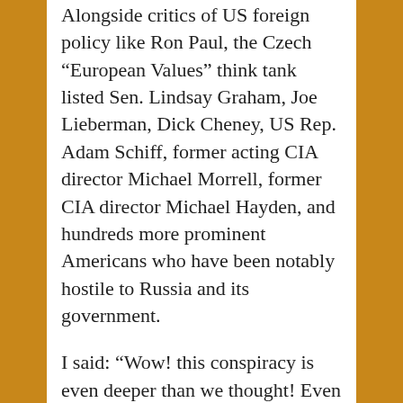Alongside critics of US foreign policy like Ron Paul, the Czech “European Values” think tank listed Sen. Lindsay Graham, Joe Lieberman, Dick Cheney, US Rep. Adam Schiff, former acting CIA director Michael Morrell, former CIA director Michael Hayden, and hundreds more prominent Americans who have been notably hostile to Russia and its government.
I said: “Wow! this conspiracy is even deeper than we thought! Even the virulently anti-Russian neocons and Russia-hating CIA bigwigs are in fact Putin’s poodles!”
It’s funny but it’s not. This is when the neo-McCarthyism lately in fashion across the ideological divide descends into the absurd. This is when the mask slips from the witch